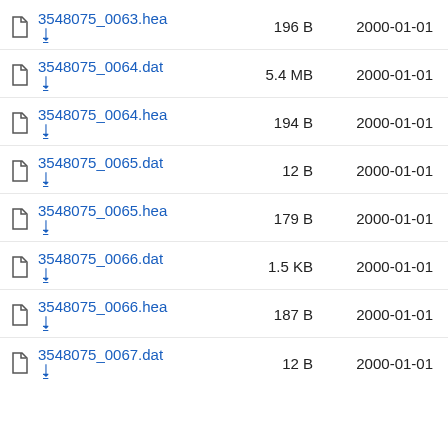3548075_0063.hea  196 B  2000-01-01
3548075_0064.dat  5.4 MB  2000-01-01
3548075_0064.hea  194 B  2000-01-01
3548075_0065.dat  12 B  2000-01-01
3548075_0065.hea  179 B  2000-01-01
3548075_0066.dat  1.5 KB  2000-01-01
3548075_0066.hea  187 B  2000-01-01
3548075_0067.dat  12 B  2000-01-01